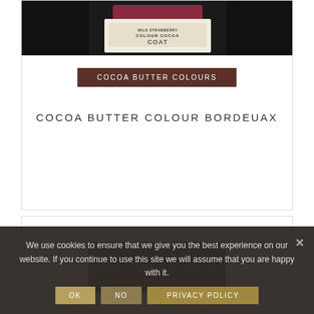[Figure (photo): Product photo of a jar of cocoa butter colour Bordeaux, partially visible at top]
COCOA BUTTER COLOURS
COCOA BUTTER COLOUR BORDEUAX
[Figure (photo): Partial product image at bottom card, dark background]
We use cookies to ensure that we give you the best experience on our website. If you continue to use this site we will assume that you are happy with it.
OK   NO   PRIVACY POLICY